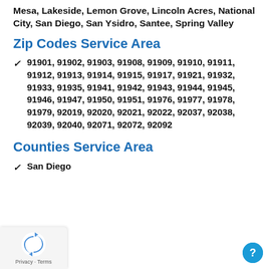Mesa, Lakeside, Lemon Grove, Lincoln Acres, National City, San Diego, San Ysidro, Santee, Spring Valley
Zip Codes Service Area
✓  91901, 91902, 91903, 91908, 91909, 91910, 91911, 91912, 91913, 91914, 91915, 91917, 91921, 91932, 91933, 91935, 91941, 91942, 91943, 91944, 91945, 91946, 91947, 91950, 91951, 91976, 91977, 91978, 91979, 92019, 92020, 92021, 92022, 92037, 92038, 92039, 92040, 92071, 92072, 92092
Counties Service Area
✓  San Diego
[Figure (logo): Google reCAPTCHA privacy badge with blue recycling-style arrows logo and 'Privacy · Terms' text]
[Figure (other): Teal circular help/question button]